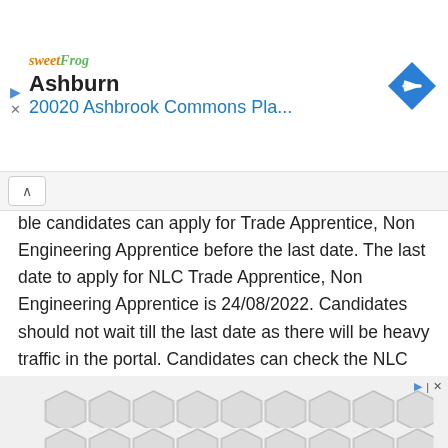[Figure (infographic): Advertisement banner showing sweetFrog logo, Ashburn location name, address '20020 Ashbrook Commons Pla...' in blue, and a blue diamond navigation arrow icon on the right]
ble candidates can apply for Trade Apprentice, Non Engineering Apprentice before the last date. The last date to apply for NLC Trade Apprentice, Non Engineering Apprentice is 24/08/2022. Candidates should not wait till the last date as there will be heavy traffic in the portal. Candidates can check the NLC Trade Apprentice, Non Engineering Apprentice Application Form link from the NLC official website.
Q6. How to apply for NLC Trade Apprentice,
[Figure (infographic): Bottom advertisement banner with gray hexagonal tile pattern background]